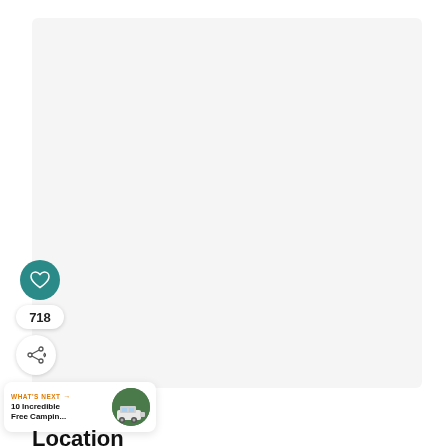[Figure (photo): Large light gray image placeholder area (main content image, appears blank/light)]
[Figure (infographic): Heart/like button (teal circle with white heart icon), count badge showing 718, and share button (white circle with share icon)]
WHAT'S NEXT → 10 Incredible Free Campin...
Location